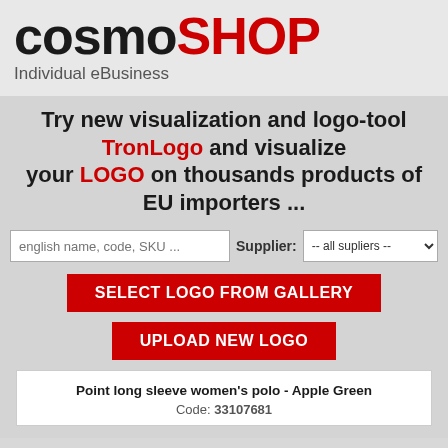[Figure (logo): CosmShop logo with 'cosmo' in black and 'SHOP' in red, bold large text, with tagline 'Individual eBusiness' below in gray]
Try new visualization and logo-tool TronLogo and visualize your LOGO on thousands products of EU importers ...
english name, code, SKU ... | Supplier: -- all supliers --
SELECT LOGO FROM GALLERY
UPLOAD NEW LOGO
Point long sleeve women's polo - Apple Green
Code: 33107681